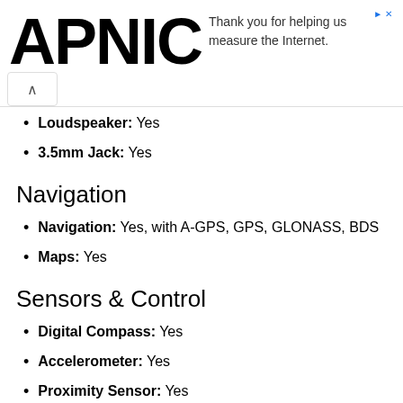APNIC — Thank you for helping us measure the Internet.
Loudspeaker: Yes
3.5mm Jack: Yes
Navigation
Navigation: Yes, with A-GPS, GPS, GLONASS, BDS
Maps: Yes
Sensors & Control
Digital Compass: Yes
Accelerometer: Yes
Proximity Sensor: Yes
Light Sensor: Yes